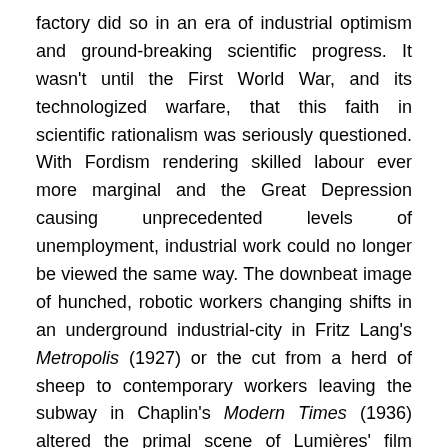factory did so in an era of industrial optimism and ground-breaking scientific progress. It wasn't until the First World War, and its technologized warfare, that this faith in scientific rationalism was seriously questioned. With Fordism rendering skilled labour ever more marginal and the Great Depression causing unprecedented levels of unemployment, industrial work could no longer be viewed the same way. The downbeat image of hunched, robotic workers changing shifts in an underground industrial-city in Fritz Lang's Metropolis (1927) or the cut from a herd of sheep to contemporary workers leaving the subway in Chaplin's Modern Times (1936) altered the primal scene of Lumières' film irrevocably.
https://vimeo.com/59338090
For the centenary anniversary of Workers Leaving a